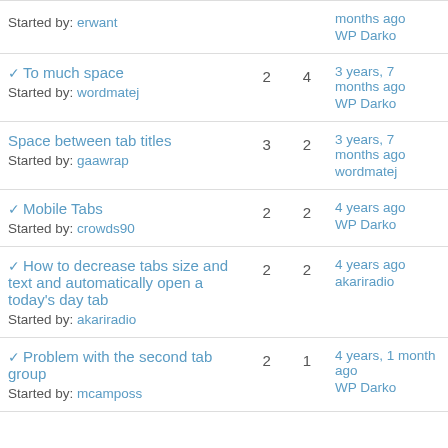| Topic | Replies | Views | Last Post |
| --- | --- | --- | --- |
| Started by: erwant |  |  | months ago
WP Darko |
| ✓ To much space
Started by: wordmatej | 2 | 4 | 3 years, 7 months ago
WP Darko |
| Space between tab titles
Started by: gaawrap | 3 | 2 | 3 years, 7 months ago
wordmatej |
| ✓ Mobile Tabs
Started by: crowds90 | 2 | 2 | 4 years ago
WP Darko |
| ✓ How to decrease tabs size and text and automatically open a today's day tab
Started by: akariradio | 2 | 2 | 4 years ago
akariradio |
| ✓ Problem with the second tab group
Started by: mcamposs | 2 | 1 | 4 years, 1 month ago
WP Darko |